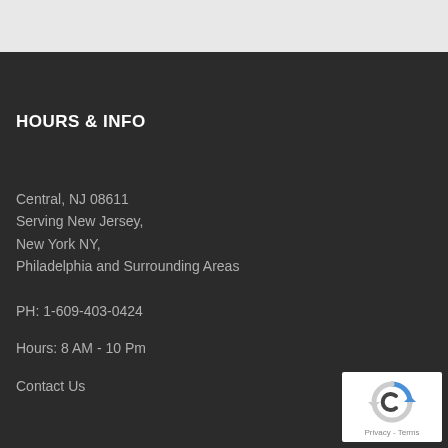HOURS & INFO
Central,  NJ 08611
Serving New Jersey,
New York NY,
Philadelphia and Surrounding Areas
PH: 1-609-403-0424
Hours: 8 AM - 10 Pm
Contact Us
[Figure (logo): reCAPTCHA badge with circular arrow icon and Privacy - Terms text]